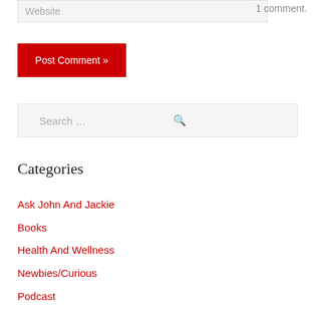Website
1 comment.
Post Comment »
Search …
Categories
Ask John And Jackie
Books
Health And Wellness
Newbies/Curious
Podcast